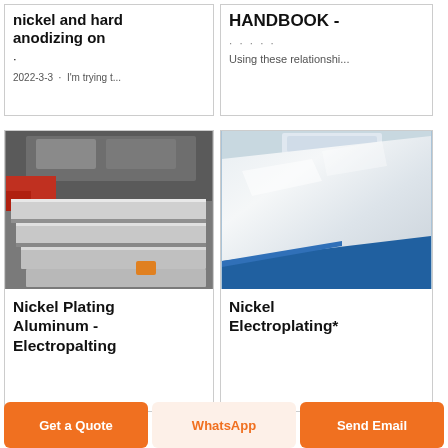nickel and hard anodizing on
·
2022-3-3 · I'm trying t...
HANDBOOK -
· · · ·
Using these relationshi...
[Figure (photo): Photo of stacked aluminum metal blocks/slabs on a factory floor, industrial setting with machinery visible in background]
Nickel Plating Aluminum - Electropalting
[Figure (photo): Photo of a shiny aluminum metal sheet with blue protective film/coating on it]
Nickel Electroplating*
Get a Quote
WhatsApp
Send Email